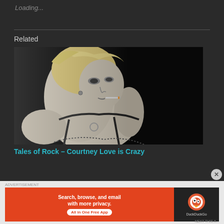Loading...
Related
[Figure (photo): Black and white photo of Courtney Love on stage, topless with a cigarette in her mouth, wearing a dark top/harness]
Tales of Rock – Courtney Love is Crazy
[Figure (other): DuckDuckGo advertisement banner: Search, browse, and email with more privacy. All in One Free App]